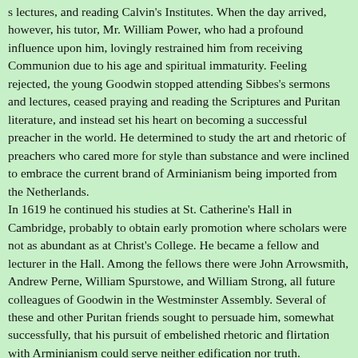s lectures, and reading Calvin's Institutes. When the day arrived, however, his tutor, Mr. William Power, who had a profound influence upon him, lovingly restrained him from receiving Communion due to his age and spiritual immaturity. Feeling rejected, the young Goodwin stopped attending Sibbes's sermons and lectures, ceased praying and reading the Scriptures and Puritan literature, and instead set his heart on becoming a successful preacher in the world. He determined to study the art and rhetoric of preachers who cared more for style than substance and were inclined to embrace the current brand of Arminianism being imported from the Netherlands. In 1619 he continued his studies at St. Catherine's Hall in Cambridge, probably to obtain early promotion where scholars were not as abundant as at Christ's College. He became a fellow and lecturer in the Hall. Among the fellows there were John Arrowsmith, Andrew Perne, William Spurstowe, and William Strong, all future colleagues of Goodwin in the Westminster Assembly. Several of these and other Puritan friends sought to persuade him, somewhat successfully, that his pursuit of embelished rhetoric and flirtation with Arminianism could serve neither edification nor truth. Moreover, he never could fully free himself from the preaching of Sibbes at Trinity Church and the catechetical sermons of John Preston in the college chapel. Nevertheless, his interest in Puritan spirituality remained spasmodic for another year, usually intensifying prior to the Lord's Supper. He always of least in some place, til God finally brought...